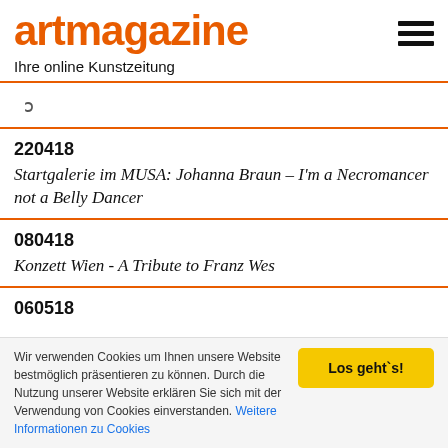artmagazine
Ihre online Kunstzeitung
ɔ
220418
Startgalerie im MUSA: Johanna Braun – I'm a Necromancer not a Belly Dancer
080418
Konzett Wien - A Tribute to Franz Wes
060518
Wir verwenden Cookies um Ihnen unsere Website bestmöglich präsentieren zu können. Durch die Nutzung unserer Website erklären Sie sich mit der Verwendung von Cookies einverstanden. Weitere Informationen zu Cookies